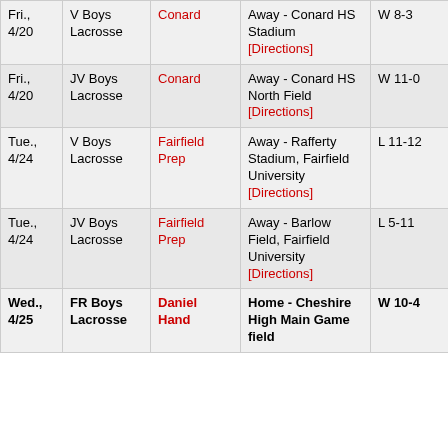| Date | Sport | Opponent | Location | Result |
| --- | --- | --- | --- | --- |
| Fri., 4/20 | V Boys Lacrosse | Conard | Away - Conard HS Stadium [Directions] | W 8-3 |
| Fri., 4/20 | JV Boys Lacrosse | Conard | Away - Conard HS North Field [Directions] | W 11-0 |
| Tue., 4/24 | V Boys Lacrosse | Fairfield Prep | Away - Rafferty Stadium, Fairfield University [Directions] | L 11-12 |
| Tue., 4/24 | JV Boys Lacrosse | Fairfield Prep | Away - Barlow Field, Fairfield University [Directions] | L 5-11 |
| Wed., 4/25 | FR Boys Lacrosse | Daniel Hand | Home - Cheshire High Main Game field | W 10-4 |